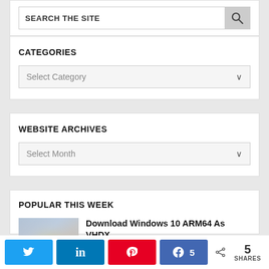[Figure (screenshot): Search the site input box with magnifying glass icon]
CATEGORIES
[Figure (screenshot): Select Category dropdown]
WEBSITE ARCHIVES
[Figure (screenshot): Select Month dropdown]
POPULAR THIS WEEK
Download Windows 10 ARM64 As VHDX
25 views
[Figure (screenshot): Social share bar with Twitter, LinkedIn, Pinterest, Facebook buttons and 5 SHARES count]